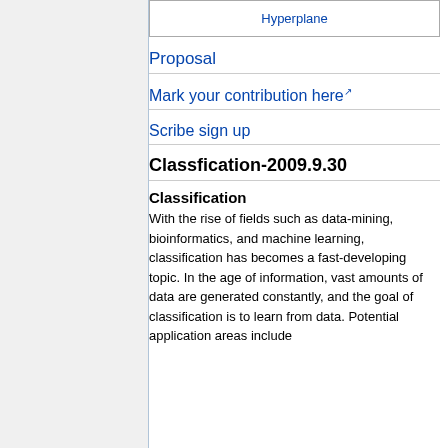| Hyperplane |
| --- |
Proposal
Mark your contribution here ↗
Scribe sign up
Classfication-2009.9.30
Classification
With the rise of fields such as data-mining, bioinformatics, and machine learning, classification has becomes a fast-developing topic. In the age of information, vast amounts of data are generated constantly, and the goal of classification is to learn from data. Potential application areas include